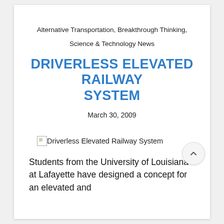Alternative Transportation, Breakthrough Thinking,
Science & Technology News
DRIVERLESS ELEVATED RAILWAY SYSTEM
March 30, 2009
[Figure (photo): Broken image placeholder labeled 'Driverless Elevated Railway System']
Students from the University of Louisiana at Lafayette have designed a concept for an elevated and